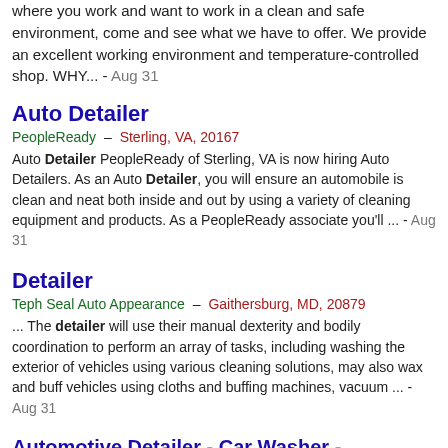where you work and want to work in a clean and safe environment, come and see what we have to offer. We provide an excellent working environment and temperature-controlled shop. WHY... - Aug 31
Auto Detailer
PeopleReady  –  Sterling, VA, 20167
Auto Detailer PeopleReady of Sterling, VA is now hiring Auto Detailers. As an Auto Detailer, you will ensure an automobile is clean and neat both inside and out by using a variety of cleaning equipment and products. As a PeopleReady associate you'll ... - Aug 31
Detailer
Teph Seal Auto Appearance  –  Gaithersburg, MD, 20879
... The detailer will use their manual dexterity and bodily coordination to perform an array of tasks, including washing the exterior of vehicles using various cleaning solutions, may also wax and buff vehicles using cloths and buffing machines, vacuum ... - Aug 31
Automotive Detailer - Car Washer - Springhill Suites Reston - Full
Enterprise Holdings  –  Sterling, VA